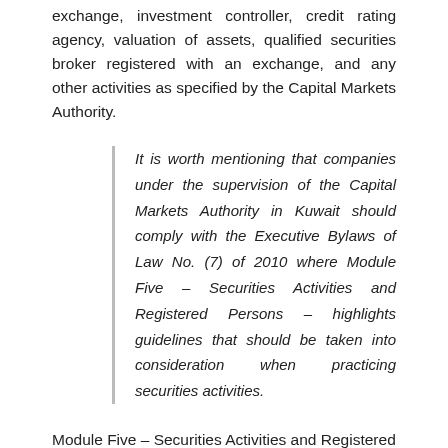exchange, investment controller, credit rating agency, valuation of assets, qualified securities broker registered with an exchange, and any other activities as specified by the Capital Markets Authority.
It is worth mentioning that companies under the supervision of the Capital Markets Authority in Kuwait should comply with the Executive Bylaws of Law No. (7) of 2010 where Module Five – Securities Activities and Registered Persons – highlights guidelines that should be taken into consideration when practicing securities activities.
Module Five – Securities Activities and Registered